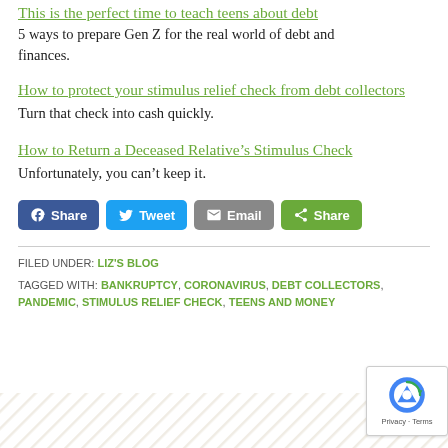[partial link] This is the perfect time to teach teens about debt
5 ways to prepare Gen Z for the real world of debt and finances.
How to protect your stimulus relief check from debt collectors
Turn that check into cash quickly.
How to Return a Deceased Relative’s Stimulus Check
Unfortunately, you can’t keep it.
[Figure (other): Social share buttons: Share (Facebook), Tweet (Twitter), Email, Share (generic)]
FILED UNDER: LIZ'S BLOG
TAGGED WITH: BANKRUPTCY, CORONAVIRUS, DEBT COLLECTORS, PANDEMIC, STIMULUS RELIEF CHECK, TEENS AND MONEY
[Figure (other): reCAPTCHA privacy badge showing Google reCAPTCHA logo with Privacy - Terms text]